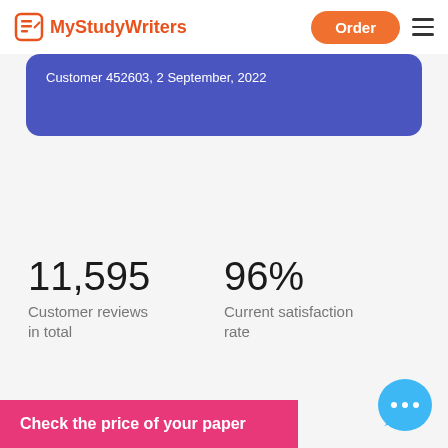MyStudyWriters | Order
Customer 452603, 2 September, 2022
11,595
Customer reviews in total
96%
Current satisfaction rate
Check the price of your paper